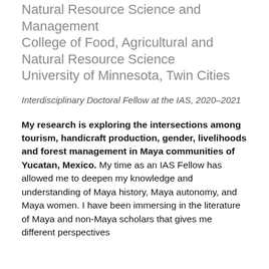Natural Resource Science and Management
College of Food, Agricultural and Natural Resource Science
University of Minnesota, Twin Cities
Interdisciplinary Doctoral Fellow at the IAS, 2020–2021
My research is exploring the intersections among tourism, handicraft production, gender, livelihoods and forest management in Maya communities of Yucatan, Mexico. My time as an IAS Fellow has allowed me to deepen my knowledge and understanding of Maya history, Maya autonomy, and Maya women. I have been immersing in the literature of Maya and non-Maya scholars that gives me different perspectives